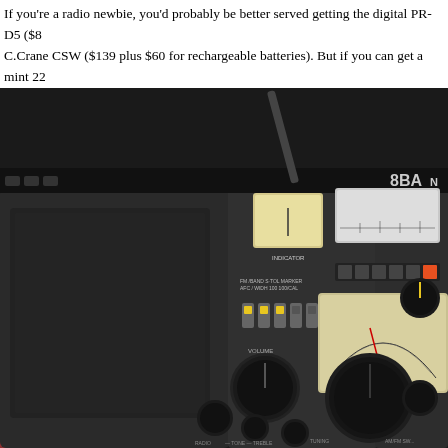If you're a radio newbie, you'd probably be better served getting the digital PR-D5 ($8... C.Crane CSW ($139 plus $60 for rechargeable batteries). But if you can get a mint 22... paying a good $250, then you will possess a radio that will never be matched by the cu... gizmos that are flying off the conveyor belts and which mock the glorious term radio.
[Figure (photo): Close-up photograph of a vintage 8-band shortwave radio receiver, showing its front panel with speaker grille, tuning knobs, band selector switches, signal meter, frequency dial, and various controls including VOLUME, TONE, TREBLE, and TUNING labels. The radio appears to be a Sony or similar brand portable shortwave receiver.]